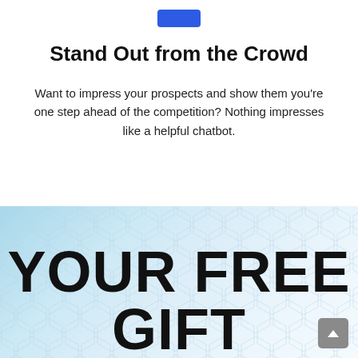[Figure (other): Small blue button/pill at top of page]
Stand Out from the Crowd
Want to impress your prospects and show them you're one step ahead of the competition? Nothing impresses like a helpful chatbot.
[Figure (infographic): Light blue section with geometric hexagon pattern background and large bold text reading YOUR FREE GIFT]
YOUR FREE GIFT